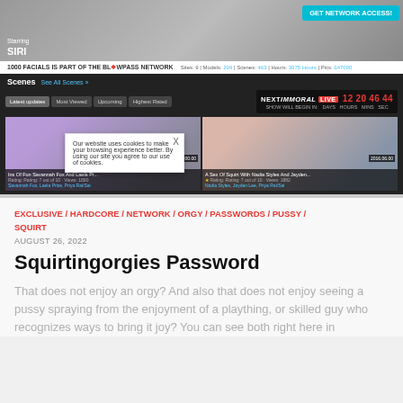[Figure (screenshot): Screenshot of adult video website showing scenes section with thumbnails, countdown timer, navigation tabs, and cookie consent popup]
EXCLUSIVE / HARDCORE / NETWORK / ORGY / PASSWORDS / PUSSY / SQUIRT
AUGUST 26, 2022
Squirtingorgies Password
That does not enjoy an orgy? And also that does not enjoy seeing a pussy spraying from the enjoyment of a plaything, or skilled guy who recognizes ways to bring it joy? You can see both right here in